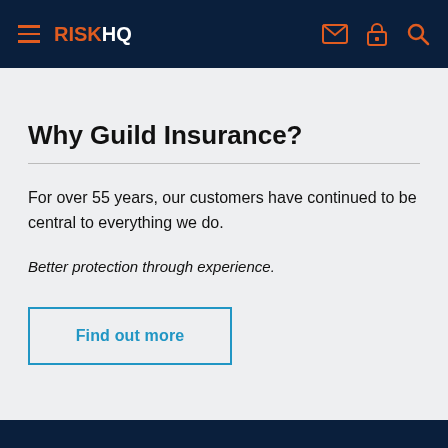RISKHQ — navigation header with hamburger menu and icons
Why Guild Insurance?
For over 55 years, our customers have continued to be central to everything we do.
Better protection through experience.
Find out more